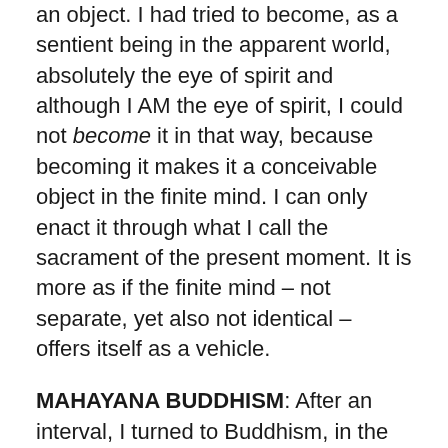an object. I had tried to become, as a sentient being in the apparent world, absolutely the eye of spirit and although I AM the eye of spirit, I could not become it in that way, because becoming it makes it a conceivable object in the finite mind. I can only enact it through what I call the sacrament of the present moment. It is more as if the finite mind – not separate, yet also not identical – offers itself as a vehicle.
MAHAYANA BUDDHISM: After an interval, I turned to Buddhism, in the form of Thich Nhat Hanh's Community of Interbeing, – https://coiuk.org/ – which renewed an occasional relationship with one or another Buddhist sangha going back for over twenty years. This time round the wheel I made sure that I studied the Emptiness teachings directly and wasn't satisfied with meditation manuals and the modern version of Buddhist psychology.